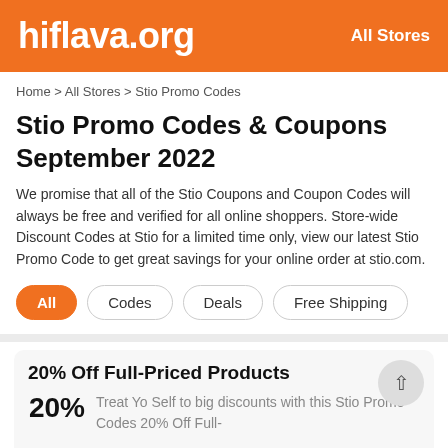hiflava.org   All Stores
Home > All Stores > Stio Promo Codes
Stio Promo Codes & Coupons September 2022
We promise that all of the Stio Coupons and Coupon Codes will always be free and verified for all online shoppers. Store-wide Discount Codes at Stio for a limited time only, view our latest Stio Promo Code to get great savings for your online order at stio.com.
All
Codes
Deals
Free Shipping
20% Off Full-Priced Products
20%
Treat Yo Self to big discounts with this Stio Promo Codes 20% Off Full-